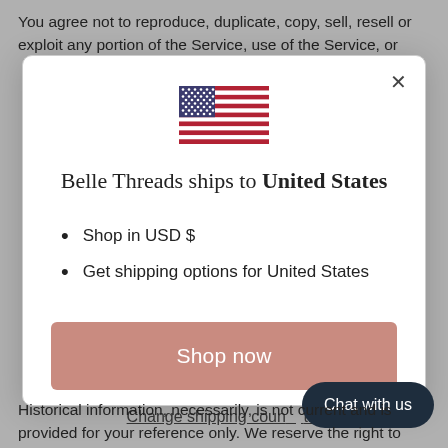You agree not to reproduce, duplicate, copy, sell, resell or exploit any portion of the Service, use of the Service, or
[Figure (illustration): US flag icon]
Belle Threads ships to United States
Shop in USD $
Get shipping options for United States
Shop now
Change shipping country
Chat with us
Historical information, necessarily, is not current and is provided for your reference only. We reserve the right to